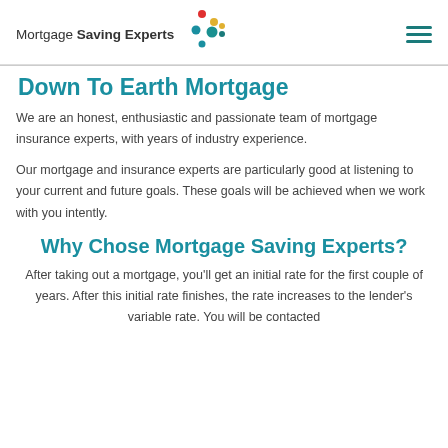Mortgage Saving Experts
Down To Earth Mortgage
We are an honest, enthusiastic and passionate team of mortgage insurance experts, with years of industry experience.
Our mortgage and insurance experts are particularly good at listening to your current and future goals. These goals will be achieved when we work with you intently.
Why Chose Mortgage Saving Experts?
After taking out a mortgage, you'll get an initial rate for the first couple of years. After this initial rate finishes, the rate increases to the lender's variable rate. You will be contacted